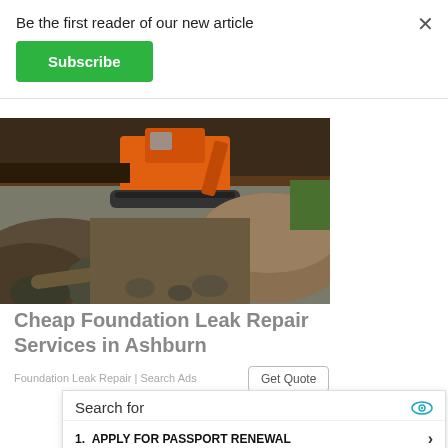Be the first reader of our new article
Subscribe
[Figure (photo): Construction site with orange excavator/bulldozer machine digging near a building foundation, surrounded by dirt and rocks]
Cheap Foundation Leak Repair Services in Ashburn
Foundation Leak Repair | Search Ads
Get Quote
Search for
1. APPLY FOR PASSPORT RENEWAL
2. ONLINE PASSPORT RENEWAL SERVICES
Ad | Glocal Search